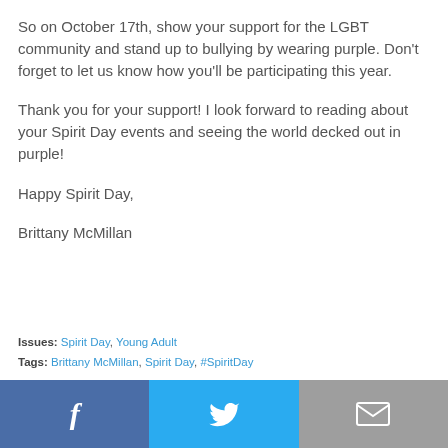So on October 17th, show your support for the LGBT community and stand up to bullying by wearing purple. Don’t forget to let us know how you’ll be participating this year.
Thank you for your support! I look forward to reading about your Spirit Day events and seeing the world decked out in purple!
Happy Spirit Day,
Brittany McMillan
Issues: Spirit Day, Young Adult
Tags: Brittany McMillan, Spirit Day, #SpiritDay